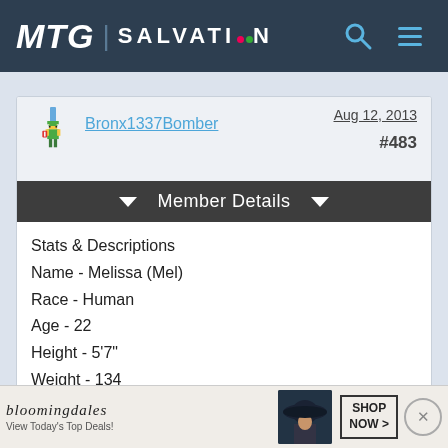MTG SALVATION
Bronx1337Bomber
Aug 12, 2013
#483
Member Details
Stats & Descriptions
Name - Melissa (Mel)
Race - Human
Age - 22
Height - 5'7"
Weight - 134
Affiliations - Mage
Appearance - Medium length light brown hair, perfect
[Figure (advertisement): Bloomingdales advertisement: bloemingdales logo, 'View Today's Top Deals!', image of woman in hat, 'SHOP NOW >' button]